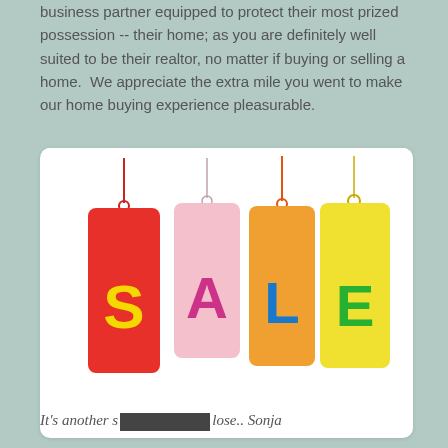business partner equipped to protect their most prized possession -- their home; as you are definitely well suited to be their realtor, no matter if buying or selling a home.  We appreciate the extra mile you went to make our home buying experience pleasurable.
[Figure (illustration): Four colorful price/sale tags hanging from strings spelling out SALE: red tag with yellow S, pink tag with magenta A, orange tag with blue L, yellow tag with green E]
Michele & Evelyn Reed, El Sobrante & Fairfield
It's another s... lose.. Sonja